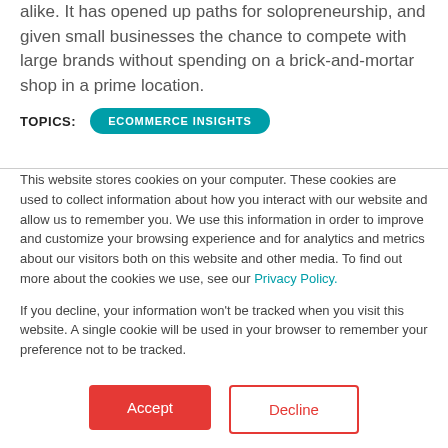alike. It has opened up paths for solopreneurship, and given small businesses the chance to compete with large brands without spending on a brick-and-mortar shop in a prime location.
TOPICS: ECOMMERCE INSIGHTS
This website stores cookies on your computer. These cookies are used to collect information about how you interact with our website and allow us to remember you. We use this information in order to improve and customize your browsing experience and for analytics and metrics about our visitors both on this website and other media. To find out more about the cookies we use, see our Privacy Policy.
If you decline, your information won't be tracked when you visit this website. A single cookie will be used in your browser to remember your preference not to be tracked.
Accept | Decline